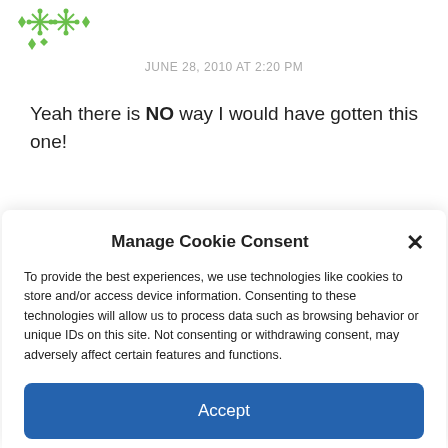[Figure (logo): Green decorative logo with diamond and asterisk shapes]
JUNE 28, 2010 AT 2:20 PM
Yeah there is NO way I would have gotten this one!
Manage Cookie Consent
To provide the best experiences, we use technologies like cookies to store and/or access device information. Consenting to these technologies will allow us to process data such as browsing behavior or unique IDs on this site. Not consenting or withdrawing consent, may adversely affect certain features and functions.
Accept
Cookie Policy  Disclosure Policy